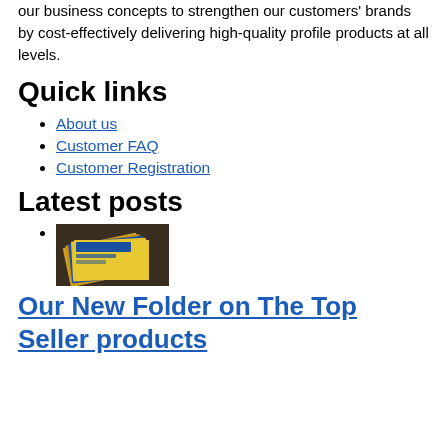our business concepts to strengthen our customers' brands by cost-effectively delivering high-quality profile products at all levels.
Quick links
About us
Customer FAQ
Customer Registration
Latest posts
[Figure (photo): Stack of yellow and blue printed folders/brochures on a dark surface]
Our New Folder on The Top Seller products